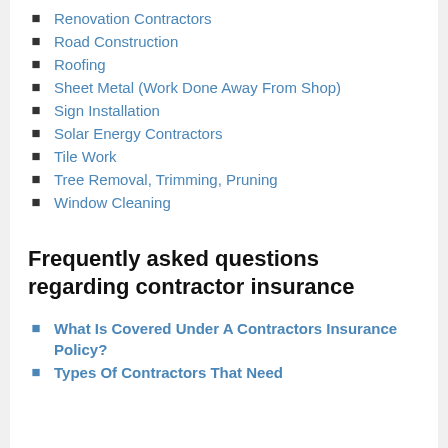Renovation Contractors
Road Construction
Roofing
Sheet Metal (Work Done Away From Shop)
Sign Installation
Solar Energy Contractors
Tile Work
Tree Removal, Trimming, Pruning
Window Cleaning
Frequently asked questions regarding contractor insurance
What Is Covered Under A Contractors Insurance Policy?
Types Of Contractors That Need